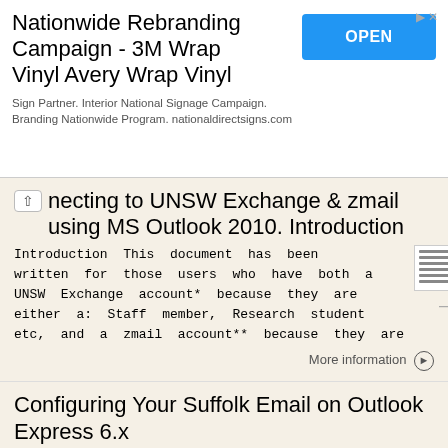[Figure (screenshot): Advertisement banner: Nationwide Rebranding Campaign - 3M Wrap Vinyl Avery Wrap Vinyl with OPEN button. Sign Partner. Interior National Signage Campaign. Branding Nationwide Program. nationaldirectsigns.com]
necting to UNSW Exchange & zmail using MS Outlook 2010. Introduction
Introduction This document has been written for those users who have both a UNSW Exchange account* because they are either a: Staff member, Research student etc, and a zmail account** because they are
More information →
Configuring Your Suffolk Email on Outlook Express 6.x
Configuring Your Suffolk Email on Outlook Express 6.x This document details configuration specific to using